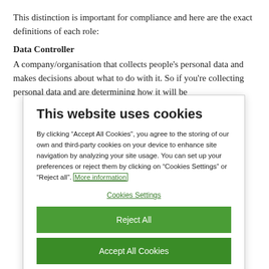This distinction is important for compliance and here are the exact definitions of each role:
Data Controller
A company/organisation that collects people’s personal data and makes decisions about what to do with it. So if you’re collecting personal data and are determining how it will be
This website uses cookies
By clicking “Accept All Cookies”, you agree to the storing of our own and third-party cookies on your device to enhance site navigation by analyzing your site usage. You can set up your preferences or reject them by clicking on “Cookies Settings” or “Reject all”. More information
Cookies Settings
Reject All
Accept All Cookies